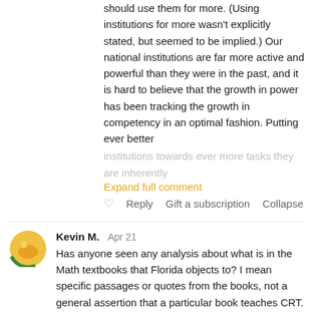should use them for more. (Using institutions for more wasn't explicitly stated, but seemed to be implied.) Our national institutions are far more active and powerful than they were in the past, and it is hard to believe that the growth in power has been tracking the growth in competency in an optimal fashion. Putting ever better
institutions towards ever more tasks they are inherently
Expand full comment
♡   Reply   Gift a subscription   Collapse
[Figure (illustration): User avatar: circular icon with yellow/orange and green colors representing user Kevin M.]
Kevin M.   Apr 21
Has anyone seen any analysis about what is in the Math textbooks that Florida objects to? I mean specific passages or quotes from the books, not a general assertion that a particular book teaches CRT. I've seen several articles mocking Florida for this, but they haven't actually described the supposedly objectionable material.
♡ 1   Reply   Gift a subscription   Collapse